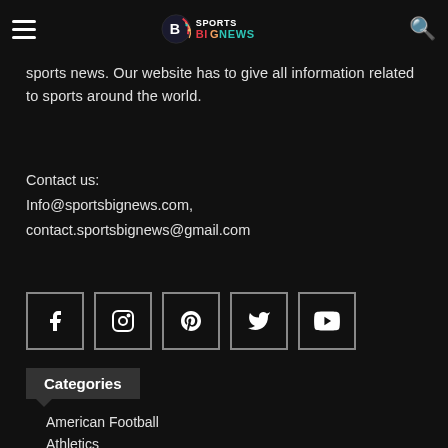[Figure (logo): Sports Big News logo with colorful football/sports icon and text SPORTS BIGNEWS]
sports news. Our website has to give all information related to sports around the world.
Contact us:
Info@sportsbignews.com,
contact.sportsbignews@gmail.com
[Figure (illustration): Row of social media icon buttons: Facebook, Instagram, Pinterest, Twitter, YouTube]
Categories
American Football
Athletics